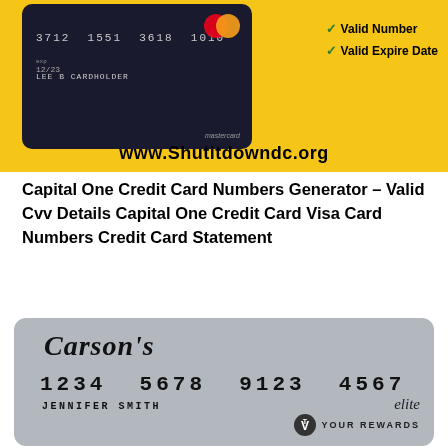[Figure (photo): Yellow background promotional image showing a dark credit card with number 3712 1551 3618 1010, expiry 12/23, name LEE B CARDHOLDER, Mastercard logo, and checkmarks for Valid Number and Valid Expire Date, with website www.Shutitdowndc.org at bottom]
Capital One Credit Card Numbers Generator – Valid Cvv Details Capital One Credit Card Visa Card Numbers Credit Card Statement
[Figure (photo): Gray Carson's credit card showing card number 1234 5678 9123 4567, cardholder name JENNIFER SMITH, elite Your Rewards logo in bottom right]